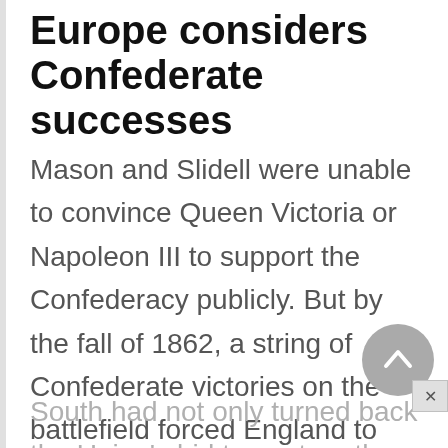Europe considers Confederate successes
Mason and Slidell were unable to convince Queen Victoria or Napoleon III to support the Confederacy publicly. But by the fall of 1862, a string of Confederate victories on the battlefield forced England to reconsider its assumption that the Union would be able to put down the Confederate rebellion. After all, by that time the South had not only turned back the Union's bid to capture the Confederate